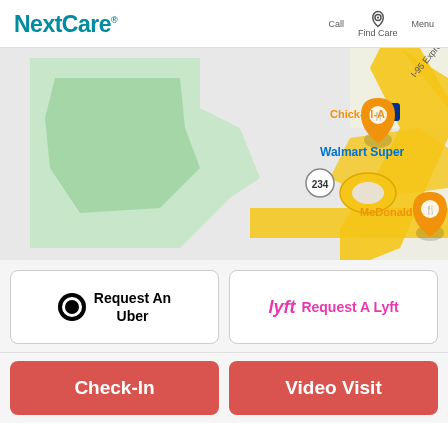NextCare | Call | Find Care | Menu
[Figure (map): Google Maps view showing road intersection with I-95 Express, route 234, Chick-fil-A pin, McDonald's pin, Walmart Super label, green park area on left]
Request An Uber
Request A Lyft
Check-In
Video Visit